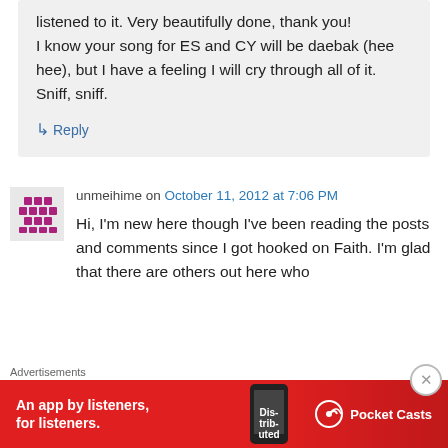listened to it. Very beautifully done, thank you!
I know your song for ES and CY will be daebak (hee hee), but I have a feeling I will cry through all of it. Sniff, sniff.
↳ Reply
unmeihime on October 11, 2012 at 7:06 PM
Hi, I'm new here though I've been reading the posts and comments since I got hooked on Faith. I'm glad that there are others out here who
Advertisements
[Figure (screenshot): Pocket Casts advertisement banner: red background with text 'An app by listeners, for listeners.' and Pocket Casts logo with phone image]